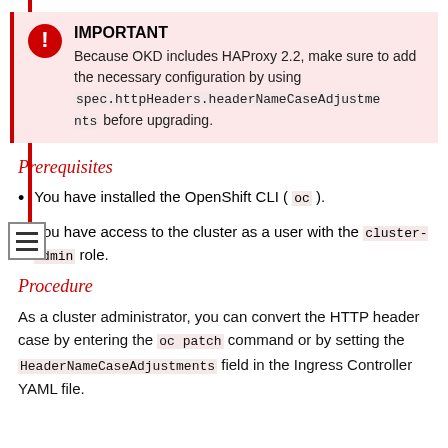IMPORTANT
Because OKD includes HAProxy 2.2, make sure to add the necessary configuration by using spec.httpHeaders.headerNameCaseAdjustments before upgrading.
Prerequisites
You have installed the OpenShift CLI ( oc ).
You have access to the cluster as a user with the cluster-admin role.
Procedure
As a cluster administrator, you can convert the HTTP header case by entering the oc patch command or by setting the HeaderNameCaseAdjustments field in the Ingress Controller YAML file.